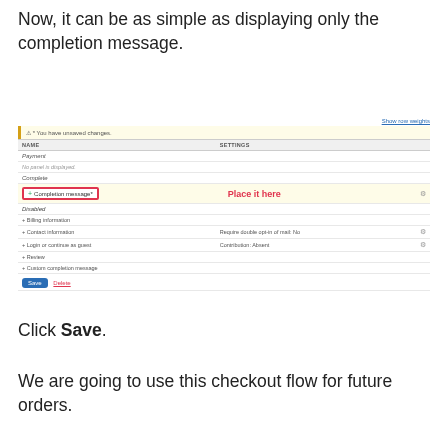Now, it can be as simple as displaying only the completion message.
[Figure (screenshot): Screenshot of a checkout flow settings panel showing: a warning bar 'You have unsaved changes', a table with NAME and SETTINGS columns, sections: Payment (No panel is displayed), Complete (Completion message row highlighted with red border and yellow background, 'Place it here' label in red), Disabled section with Billing information, Contact information (Require double opt-in of mail: No), Login or continue as guest (Contribution: Absent), Review, Custom completion message. Save and Delete buttons at bottom.]
Click Save.
We are going to use this checkout flow for future orders.